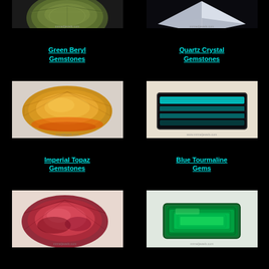[Figure (photo): Green Beryl gemstone - faceted oval green stone]
[Figure (photo): Quartz Crystal gemstone - clear faceted diamond shape]
Green Beryl Gemstones
Quartz Crystal Gemstones
[Figure (photo): Imperial Topaz gemstone - golden/orange oval faceted stone]
[Figure (photo): Blue Tourmaline Gems - rectangular step-cut blue tourmaline]
Imperial Topaz Gemstones
Blue Tourmaline Gems
[Figure (photo): Pink/red oval faceted gemstone]
[Figure (photo): Green rectangular emerald-cut gemstone]